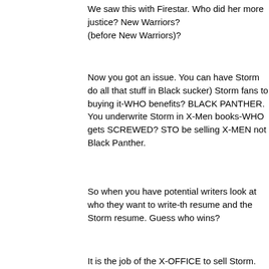We saw this with Firestar. Who did her more justice? New Warriors? (before New Warriors)?
Now you got an issue. You can have Storm do all that stuff in Black sucker) Storm fans to buying it-WHO benefits? BLACK PANTHER. You underwrite Storm in X-Men books-WHO gets SCREWED? STO be selling X-MEN not Black Panther.
So when you have potential writers look at who they want to write-th resume and the Storm resume. Guess who wins?
It is the job of the X-OFFICE to sell Storm. Part of the reason she ar solos is because they never get to be the center of attention.
Give folks a reason to want a Storm book that does not require Wak or whoever. In some format.[/QUOTE]
Well it would make sense to interview him regarding her especially s said he would be writing her solo.
I know they can do whatever they like but it doesn't mean readers w doing that. Its curious that Duggan even brought Coates up when bl writing of storm in that book wasn't mentioned. Thats an indicator th readers enjoyed what he was doing.
Storm was worshipped as a goddess in Kenya and has ancestors o who extended back to the dawn of humanity. Wakandans being awa and believing in it wouldn't be a stretch considering kenya borders.